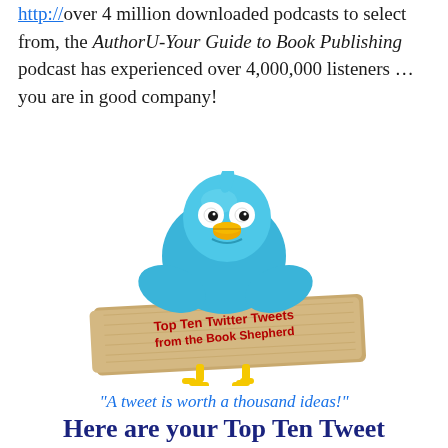over 4 million downloaded podcasts to select from, the AuthorU-Your Guide to Book Publishing podcast has experienced over 4,000,000 listeners … you are in good company!
[Figure (illustration): Cartoon Twitter blue bird holding a wooden sign reading 'Top Ten Twitter Tweets from the Book Shepherd' with yellow feet, white eyes with black pupils, and an orange beak. Below the image is the italic quote: 'A tweet is worth a thousand ideas!']
Here are your Top Ten Tweet